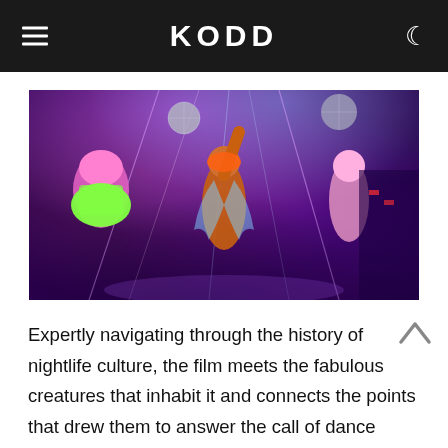KODD
[Figure (photo): Colorful nightclub scene with performers dancing under purple and pink lighting, disco balls, and laser beams. A central figure raises their arm wearing a mask, flanked by dancers in neon outfits with sequins and sparkly streamers.]
Expertly navigating through the history of nightlife culture, the film meets the fabulous creatures that inhabit it and connects the points that drew them to answer the call of dance music.